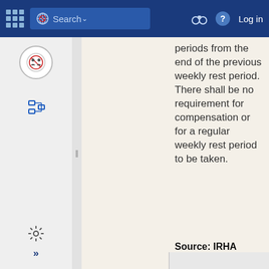Search  Log in
periods from the end of the previous weekly rest period. There shall be no requirement for compensation or for a regular weekly rest period to be taken.
Source: IRHA